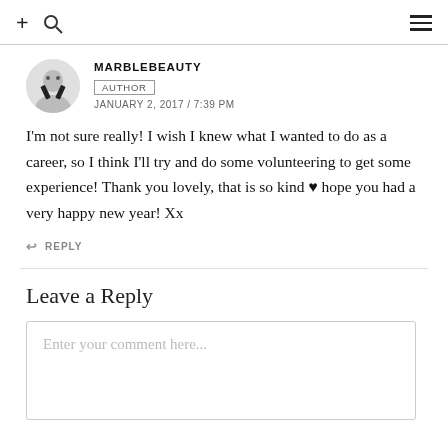+ [search icon] [hamburger menu]
MARBLEBEAUTY
AUTHOR
JANUARY 2, 2017 / 7:39 PM
I'm not sure really! I wish I knew what I wanted to do as a career, so I think I'll try and do some volunteering to get some experience! Thank you lovely, that is so kind ♥ hope you had a very happy new year! Xx
↩ REPLY
Leave a Reply
Enter your comment here...